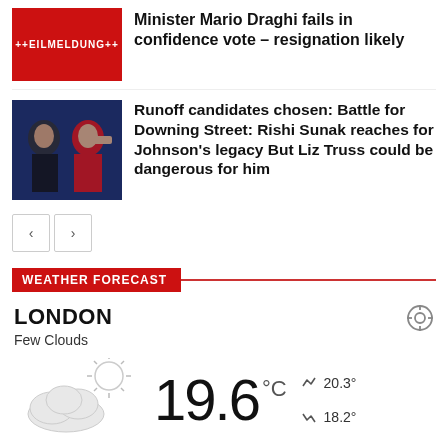[Figure (screenshot): Red breaking news thumbnail with text EILMELDUNG]
Minister Mario Draghi fails in confidence vote – resignation likely
[Figure (photo): Photo of Rishi Sunak and Liz Truss at debate]
Runoff candidates chosen: Battle for Downing Street: Rishi Sunak reaches for Johnson's legacy But Liz Truss could be dangerous for him
WEATHER FORECAST
LONDON
Few Clouds
[Figure (illustration): Partly cloudy weather icon]
19.6 °C
20.3°
18.2°